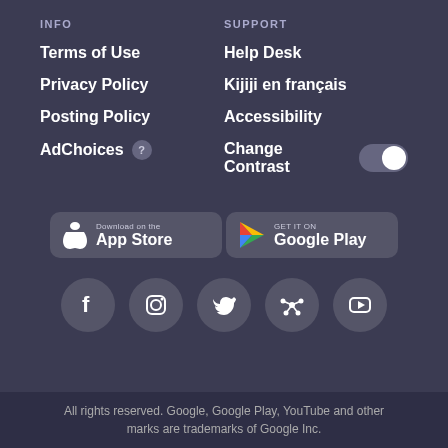INFO
SUPPORT
Terms of Use
Help Desk
Privacy Policy
Kijiji en français
Posting Policy
Accessibility
AdChoices
Change Contrast
[Figure (screenshot): Download on the App Store button]
[Figure (screenshot): Get it on Google Play button]
[Figure (infographic): Social media icons: Facebook, Instagram, Twitter, network icon, YouTube]
All rights reserved. Google, Google Play, YouTube and other marks are trademarks of Google Inc.